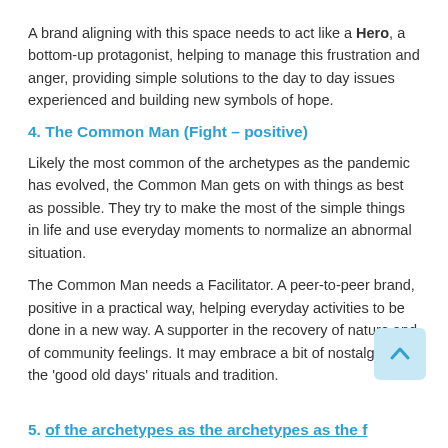A brand aligning with this space needs to act like a Hero, a bottom-up protagonist, helping to manage this frustration and anger, providing simple solutions to the day to day issues experienced and building new symbols of hope.
4. The Common Man (Fight – positive)
Likely the most common of the archetypes as the pandemic has evolved, the Common Man gets on with things as best as possible. They try to make the most of the simple things in life and use everyday moments to normalize an abnormal situation.
The Common Man needs a Facilitator. A peer-to-peer brand, positive in a practical way, helping everyday activities to be done in a new way. A supporter in the recovery of nature and of community feelings. It may embrace a bit of nostalgia for the 'good old days' rituals and tradition.
5. [partial section header continues below]